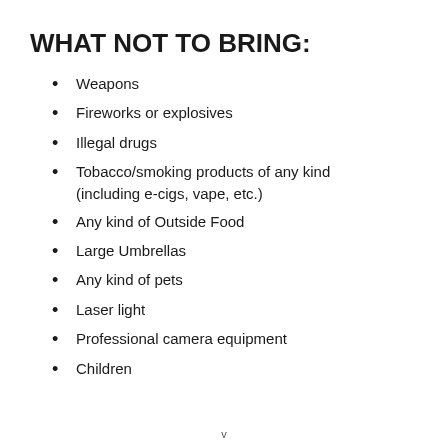WHAT NOT TO BRING:
Weapons
Fireworks or explosives
Illegal drugs
Tobacco/smoking products of any kind (including e-cigs, vape, etc.)
Any kind of Outside Food
Large Umbrellas
Any kind of pets
Laser light
Professional camera equipment
Children
v